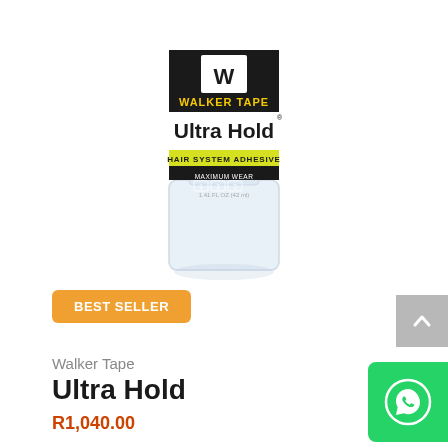[Figure (photo): Walker Tape Ultra Hold Hair System Adhesive bottle with black label, white text, and yellow accent band. Clear glass bottle.]
BEST SELLER
Walker Tape
Ultra Hold
R1,040.00
Ultra Hold is themost popular Maximum Wear adhesive. Ultra Hold is an acrylic adhesive that is better than the previously dominant